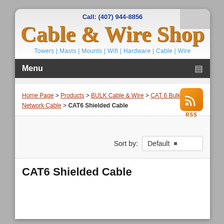Call: (407) 944-8856
[Figure (logo): Cable & Wire Shop logo with tagline: Towers | Masts | Mounts | Wifi | Hardware | Cable | Wire]
Menu
Home Page > Products > BULK Cable & Wire > CAT 6 Bulk Network Cable > CAT6 Shielded Cable
[Figure (logo): RSS feed icon badge]
Sort by: Default
CAT6 Shielded Cable